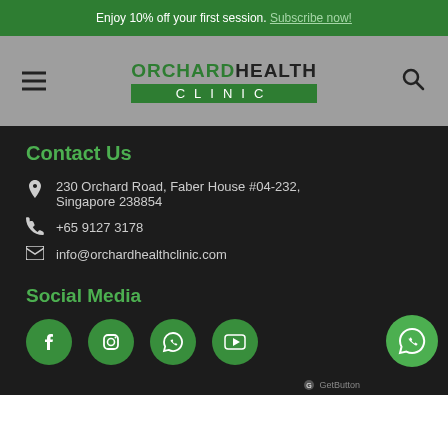Enjoy 10% off your first session. Subscribe now!
[Figure (logo): Orchard Health Clinic logo with hamburger menu and search icon on grey navigation bar]
Contact Us
230 Orchard Road, Faber House #04-232, Singapore 238854
+65 9127 3178
info@orchardhealthclinic.com
Social Media
[Figure (illustration): Social media icons: Facebook, Instagram, WhatsApp, YouTube — green circles]